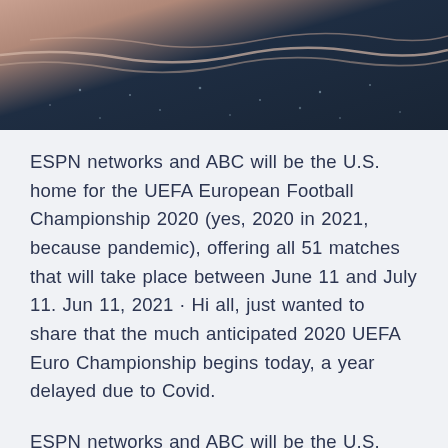[Figure (photo): Aerial or wide-angle photograph of a dark ocean or water body with light reflecting off waves, with sandy or pinkish shoreline visible in the upper portion]
ESPN networks and ABC will be the U.S. home for the UEFA European Football Championship 2020 (yes, 2020 in 2021, because pandemic), offering all 51 matches that will take place between June 11 and July 11. Jun 11, 2021 · Hi all, just wanted to share that the much anticipated 2020 UEFA Euro Championship begins today, a year delayed due to Covid.
ESPN networks and ABC will be the U.S. home for the UEFA European Football Championship 2020 (yes, 2020 in 2021, because pandemic), offering all 51 matches that will take place between June 11 and July 11. Jun 11, 2021 · Hi all, just wanted to share that the much anticipated 2020 UEFA Euro Championship begins today, a year delayed due to Covid.